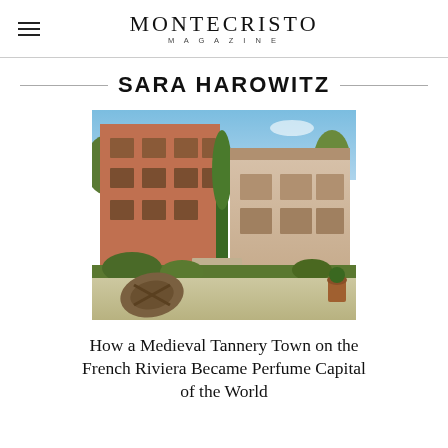MONTECRISTO MAGAZINE
SARA HAROWITZ
[Figure (photo): Exterior photo of a French Riviera villa with terracotta-colored multi-story building on the left, a stone/stucco building on the right, green cypress trees, stone steps, terracotta potted plants, and a large wooden barrel wheel in the foreground courtyard. Blue sky with scattered clouds.]
How a Medieval Tannery Town on the French Riviera Became Perfume Capital of the World